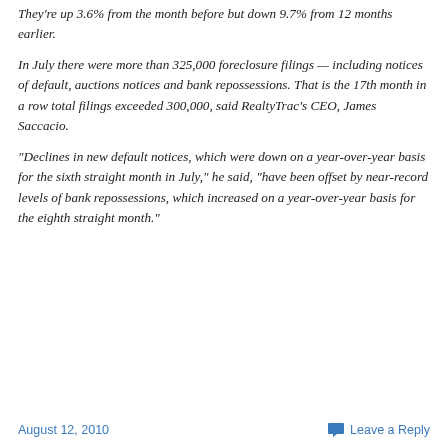They're up 3.6% from the month before but down 9.7% from 12 months earlier.
In July there were more than 325,000 foreclosure filings — including notices of default, auctions notices and bank repossessions. That is the 17th month in a row total filings exceeded 300,000, said RealtyTrac's CEO, James Saccacio.
“Declines in new default notices, which were down on a year-over-year basis for the sixth straight month in July,” he said, “have been offset by near-record levels of bank repossessions, which increased on a year-over-year basis for the eighth straight month.”
August 12, 2010    Leave a Reply